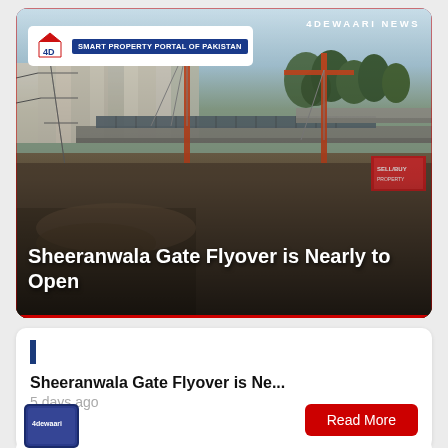4DEWAARI NEWS
[Figure (photo): Aerial view of Sheeranwala Gate Flyover construction site with cranes, under-construction bridge structure, surrounding residential buildings and trees in background. 4Dewaari.com logo and 'Smart Property Portal of Pakistan' tagline visible in top-left corner.]
Sheeranwala Gate Flyover is Nearly to Open
Sheeranwala Gate Flyover is Ne...
5 days ago
Read More